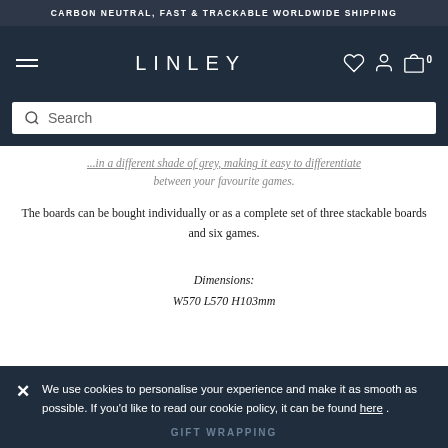CARBON NEUTRAL, FAST & TRACKABLE WORLDWIDE SHIPPING
[Figure (screenshot): LINLEY website navigation bar with hamburger menu, LINLEY logo, wishlist/account/cart icons, and search bar]
...in a different shade of grey, making it easy to differentiate between your favourite games.
The boards can be bought individually or as a complete set of three stackable boards and six games.
Dimensions:
W570 L570 H103mm
We use cookies to personalise your experience and make it as smooth as possible. If you'd like to read our cookie policy, it can be found here .
GIFT WRAPPING